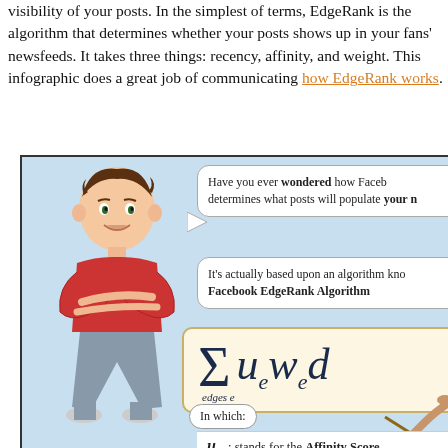visibility of your posts. In the simplest of terms, EdgeRank is the algorithm that determines whether your posts shows up in your fans' newsfeeds. It takes three things: recency, affinity, and weight. This infographic does a great job of communicating how EdgeRank works.
[Figure (infographic): Infographic about Facebook EdgeRank algorithm featuring a cartoon character, speech bubbles explaining EdgeRank, and a mathematical formula showing the sum over edges e of u_e * w_e * d_e, with u_e standing for Affinity Score.]